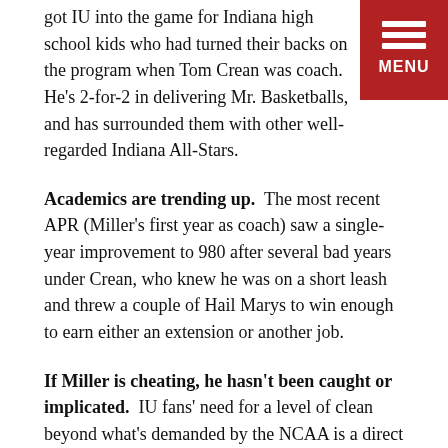got IU into the game for Indiana high school kids who had turned their backs on the program when Tom Crean was coach.  He's 2-for-2 in delivering Mr. Basketballs, and has surrounded them with other well-regarded Indiana All-Stars.
Academics are trending up.  The most recent APR (Miller's first year as coach) saw a single-year improvement to 980 after several bad years under Crean, who knew he was on a short leash and threw a couple of Hail Marys to win enough to earn either an extension or another job.
If Miller is cheating, he hasn't been caught or implicated.  IU fans' need for a level of clean beyond what's demanded by the NCAA is a direct reflection of the Knight years.  It's not enough to win for IU fans.  We need to be able to beat the crooks and rub Hoosier values in their faces.
Miller has IU playing man-to-man, which IU fans understand because of decades of watching Knight